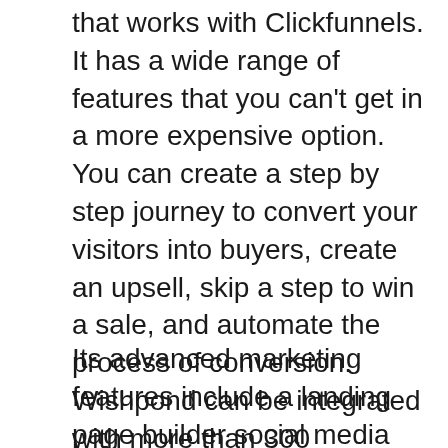that works with Clickfunnels. It has a wide range of features that you can't get in a more expensive option. You can create a step by step journey to convert your visitors into buyers, create an upsell, skip a step to win a sale, and automate the process of conversion. Wishpond can be integrated with more than 300 marketing tools including Zapier, Shopify, and Salesforce. It also supports WordPress.
Its advanced marketing features include a landing page builder social media promotion, lead activity tracking. You can choose from over 100 templates and customize them to match your site's branding and design. Wishpond helps you to capture and manage leads and its forms make it easy to inform